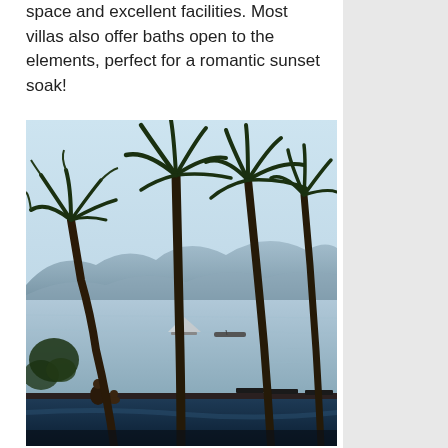space and excellent facilities. Most villas also offer baths open to the elements, perfect for a romantic sunset soak!
[Figure (photo): Tropical infinity pool scene with tall palm trees in the foreground, calm sea water with sailboat and motorboat in the middle distance, misty mountains in the background, and two people sitting at the pool's edge in the lower left.]